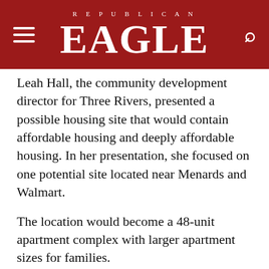REPUBLICAN EAGLE
Leah Hall, the community development director for Three Rivers, presented a possible housing site that would contain affordable housing and deeply affordable housing. In her presentation, she focused on one potential site located near Menards and Walmart.
The location would become a 48-unit apartment complex with larger apartment sizes for families.
“We looked at six parcels within city limits and looked at accessibility and walkability from the locations, whether the site is developable and site control for each site, the preferred site is walkable and checks a lot of the marks we looked at,” Hall